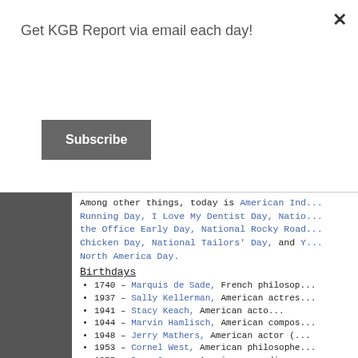Get KGB Report via email each day!
Subscribe
Among other things, today is American Ind... Running Day, I Love My Dentist Day, Natio... the Office Early Day, National Rocky Road... Chicken Day, National Tailors' Day, and Y... North America Day.
Birthdays
1740 – Marquis de Sade, French philosop...
1937 – Sally Kellerman, American actres...
1941 – Stacy Keach, American acto...
1944 – Marvin Hamlisch, American compos...
1948 – Jerry Mathers, American actor (...
1953 – Cornel West, American philosophe...
1955 – Dana Carvey, American comedian a...
1972 – Wayne Brady, American actor, co... singer
1977 – Zachary Quinto, American actor a...
1978 – Justin Long, American actor...